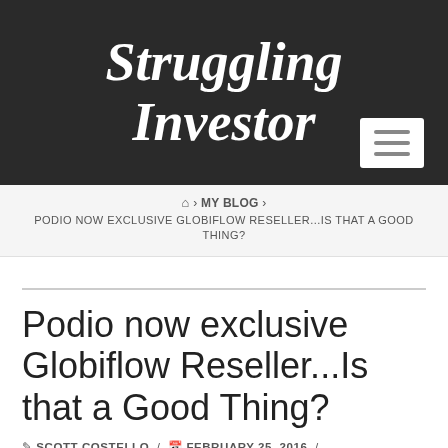Struggling Investor
🏠 > MY BLOG > PODIO NOW EXCLUSIVE GLOBIFLOW RESELLER...IS THAT A GOOD THING?
Podio now exclusive Globiflow Reseller...Is that a Good Thing?
SCOTT COSTELLO / FEBRUARY 25, 2016 / ALL, BLOG, FEATURED / 27 COMMENTS